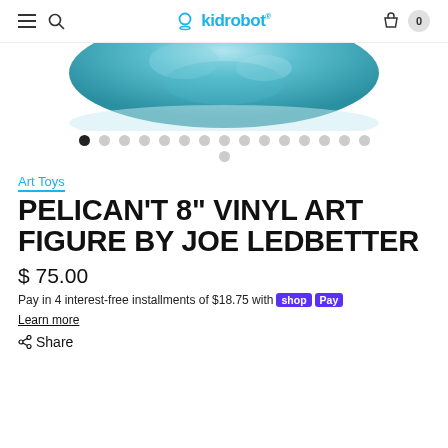Kidrobot - navigation bar with hamburger menu, search, logo, and cart (0)
[Figure (photo): Bottom portion of a teal/turquoise vinyl art figure on white background]
[Figure (other): Image carousel dots: 15 dots in first row (first dot active/black, rest gray), one dot in second row]
Art Toys
PELICAN'T 8" VINYL ART FIGURE BY JOE LEDBETTER
$ 75.00
Pay in 4 interest-free installments of $18.75 with shop Pay
Learn more
Share